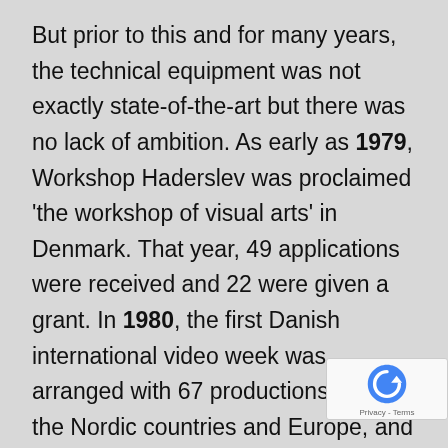But prior to this and for many years, the technical equipment was not exactly state-of-the-art but there was no lack of ambition. As early as 1979, Workshop Haderslev was proclaimed 'the workshop of visual arts' in Denmark. That year, 49 applications were received and 22 were given a grant. In 1980, the first Danish international video week was arranged with 67 productions from the Nordic countries and Europe, and 450 visitors. The number of applications almost exploded – 100 applications were received but, at this po[int] the workshop could only give grants to ab[out] 45% of them. The number of working...